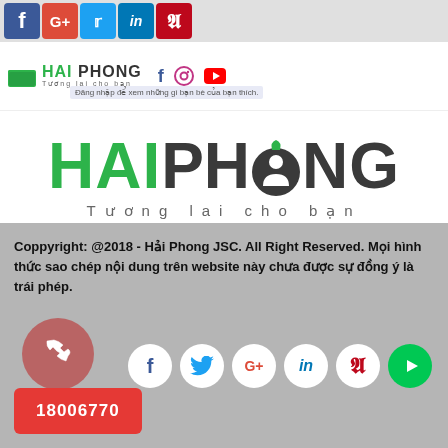[Figure (screenshot): Top social media banner with Facebook, Google+, Twitter, LinkedIn, Pinterest icons in colored boxes]
[Figure (logo): Hai Phong logo small with folder icon, social icons Facebook, Instagram, YouTube in header]
Đăng nhập để xem những gì bạn bè của bạn thích.
[Figure (logo): Large Hai Phong logo with green HAI and dark PHONG text, person icon in O, tagline Tương lai cho bạn]
Chất lượng sản phẩm, dịch vụ là uy tín là hiệu quả, là nền tảng cho sự phát triển của công ty
Coppyright: @2018 - Hải Phong JSC. All Right Reserved. Mọi hình thức sao chép nội dung trên website này chưa được sự đồng ý là trái phép.
[Figure (infographic): Footer social icons: Facebook, Twitter, Google+, LinkedIn, Pinterest, YouTube circles; red phone button 18006770]
18006770